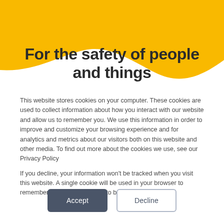[Figure (illustration): Yellow wave/banner background at the top of the page with wavy bottom edge]
For the safety of people and things
This website stores cookies on your computer. These cookies are used to collect information about how you interact with our website and allow us to remember you. We use this information in order to improve and customize your browsing experience and for analytics and metrics about our visitors both on this website and other media. To find out more about the cookies we use, see our Privacy Policy
If you decline, your information won't be tracked when you visit this website. A single cookie will be used in your browser to remember your preference not to be tracked.
Accept | Decline